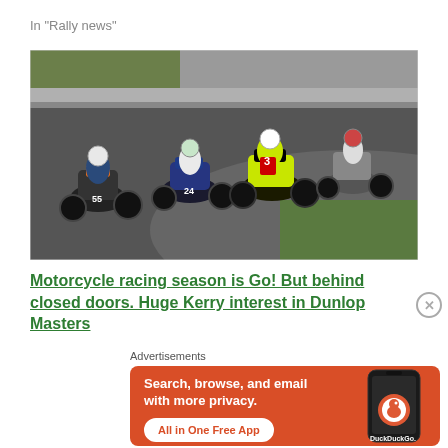In "Rally news"
[Figure (photo): Four motorcycle racers leaning into a curve on a race track. Riders wear numbered bibs including 55, 24, and 3. The foreground rider is on a yellow and black motorcycle.]
Motorcycle racing season is Go! But behind closed doors. Huge Kerry interest in Dunlop Masters
Advertisements
[Figure (other): DuckDuckGo advertisement banner with orange background. Text reads: Search, browse, and email with more privacy. All in One Free App. DuckDuckGo logo shown with a phone mockup.]